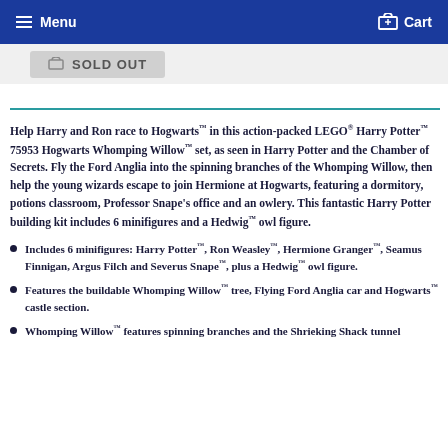Menu   Cart
[Figure (other): Sold Out button with cart icon on grey background]
Help Harry and Ron race to Hogwarts™ in this action-packed LEGO® Harry Potter™ 75953 Hogwarts Whomping Willow™ set, as seen in Harry Potter and the Chamber of Secrets. Fly the Ford Anglia into the spinning branches of the Whomping Willow, then help the young wizards escape to join Hermione at Hogwarts, featuring a dormitory, potions classroom, Professor Snape's office and an owlery. This fantastic Harry Potter building kit includes 6 minifigures and a Hedwig™ owl figure.
Includes 6 minifigures: Harry Potter™, Ron Weasley™, Hermione Granger™, Seamus Finnigan, Argus Filch and Severus Snape™, plus a Hedwig™ owl figure.
Features the buildable Whomping Willow™ tree, Flying Ford Anglia car and Hogwarts™ castle section.
Whomping Willow™ features spinning branches and the Shrieking Shack tunnel